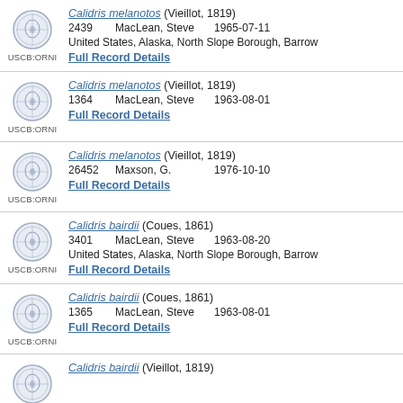Calidris melanotos (Vieillot, 1819) | 2439 MacLean, Steve 1965-07-11 | United States, Alaska, North Slope Borough, Barrow | Full Record Details
Calidris melanotos (Vieillot, 1819) | 1364 MacLean, Steve 1963-08-01 | Full Record Details
Calidris melanotos (Vieillot, 1819) | 26452 Maxson, G. 1976-10-10 | Full Record Details
Calidris bairdii (Coues, 1861) | 3401 MacLean, Steve 1963-08-20 | United States, Alaska, North Slope Borough, Barrow | Full Record Details
Calidris bairdii (Coues, 1861) | 1365 MacLean, Steve 1963-08-01 | Full Record Details
Calidris bairdii (Vieillot, 1819) [partial, cut off]